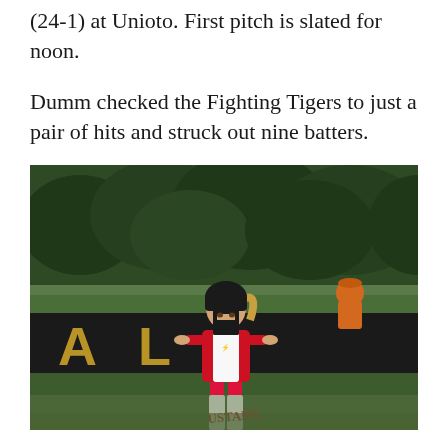(24-1) at Unioto. First pitch is slated for noon.
Dumm checked the Fighting Tigers to just a pair of hits and struck out nine batters.
[Figure (photo): A softball player in a red and white Mustang uniform wearing a black batting helmet with face guard, standing on the field. A black outfield wall with gold letters 'AL' is visible in the background, along with green trees. Another person in orange is visible in the background.]